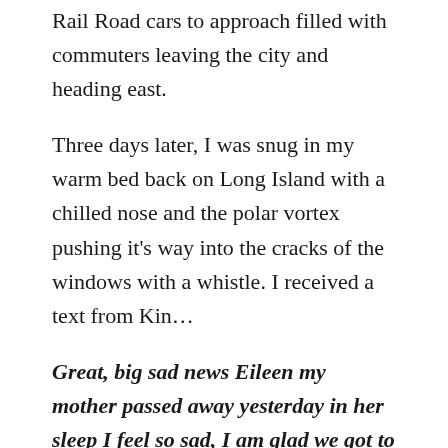Rail Road cars to approach filled with commuters leaving the city and heading east.
Three days later, I was snug in my warm bed back on Long Island with a chilled nose and the polar vortex pushing it's way into the cracks of the windows with a whistle. I received a text from Kin…
Great, big sad news Eileen my mother passed away yesterday in her sleep I feel so sad, I am glad we got to see her.
I was startled and pulled back to all those family members on the front porch of Grandmother's house in Vietnam saying our tearful goodbyes. I felt their sorrow. I recalled a fierce, devout women who raised eleven